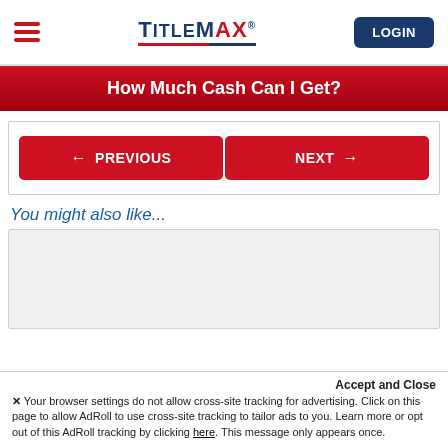[Figure (logo): TitleMax logo with hamburger menu and LOGIN button in header]
How Much Cash Can I Get?
[Figure (other): Navigation buttons: PREVIOUS (left arrow) and NEXT (right arrow) in red]
You might also like...
[Figure (other): Gray content placeholder box for recommended content]
Accept and Close
✕ Your browser settings do not allow cross-site tracking for advertising. Click on this page to allow AdRoll to use cross-site tracking to tailor ads to you. Learn more or opt out of this AdRoll tracking by clicking here. This message only appears once.